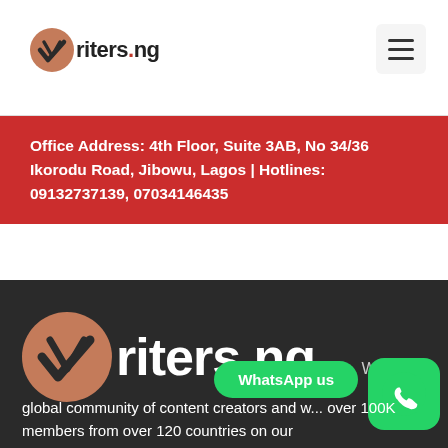[Figure (logo): Writers.ng logo with checkmark icon in header]
Office Address: 4th Floor, Suite 3AB, No 34/36 Ikorodu Road, Jibowu, Lagos | Hotlines: 09132737139, 07034146435
[Figure (logo): Large Writers.ng logo in dark footer section]
We are a
WhatsApp us
global community of content creators and w... over 100K members from over 120 countries on our